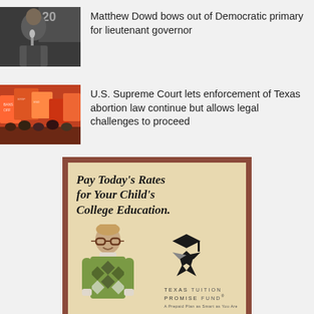[Figure (photo): Man speaking at microphone with partial sign reading '201' in background]
Matthew Dowd bows out of Democratic primary for lieutenant governor
[Figure (photo): Protesters holding signs at a rally, anti-abortion protest]
U.S. Supreme Court lets enforcement of Texas abortion law continue but allows legal challenges to proceed
[Figure (illustration): Texas Tuition Promise Fund advertisement. Headline: PAY TODAY'S RATES FOR YOUR CHILD'S COLLEGE EDUCATION. Shows a young boy with glasses and argyle vest, alongside the Texas Tuition Promise Fund star logo. Tagline: A Prepaid Plan as Smart as You Are.]